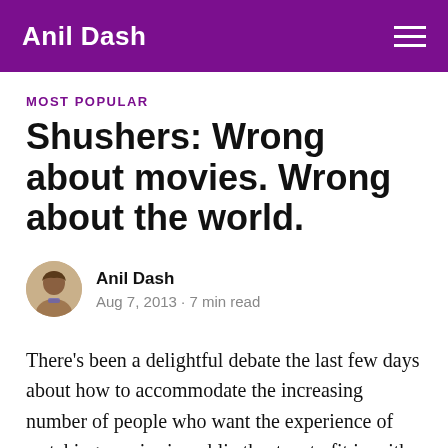Anil Dash
MOST POPULAR
Shushers: Wrong about movies. Wrong about the world.
Anil Dash
Aug 7, 2013 · 7 min read
There's been a delightful debate the last few days about how to accommodate the increasing number of people who want the experience of watching movies in public theaters to fit in with the way they live the rest of their lives: Connected to others, and augmented or even mediated through digital